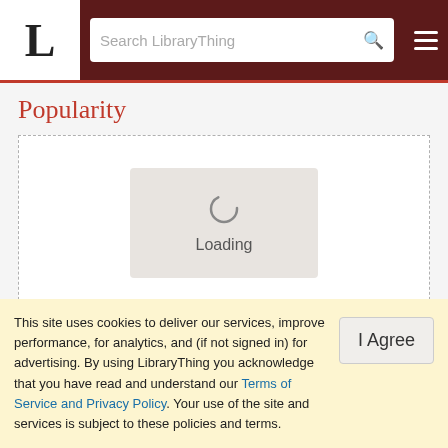L  Search LibraryThing
Popularity
[Figure (other): Loading spinner widget inside a dashed border box, showing a circular spinner icon and the text 'Loading']
This site uses cookies to deliver our services, improve performance, for analytics, and (if not signed in) for advertising. By using LibraryThing you acknowledge that you have read and understand our Terms of Service and Privacy Policy. Your use of the site and services is subject to these policies and terms.